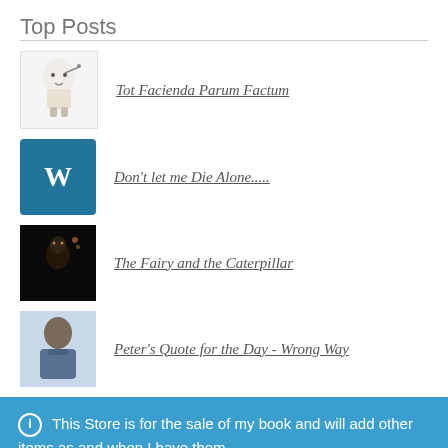Top Posts
Tot Facienda Parum Factum
Don't let me Die Alone.....
The Fairy and the Caterpillar
Peter's Quote for the Day - Wrong Way
This Store is for the sale of my book and will add other items as and when I have them.
Dismiss
Chat with Sir Peter James Dotcome
Hi! How can we help you?